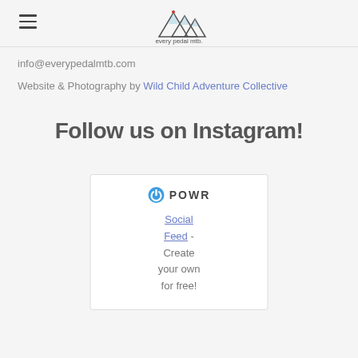every pedal mtb (logo)
info@everypedalmtb.com
Website & Photography by Wild Child Adventure Collective
Follow us on Instagram!
[Figure (other): POWR Social Feed widget box with POWR logo and text: Social Feed - Create your own for free!]